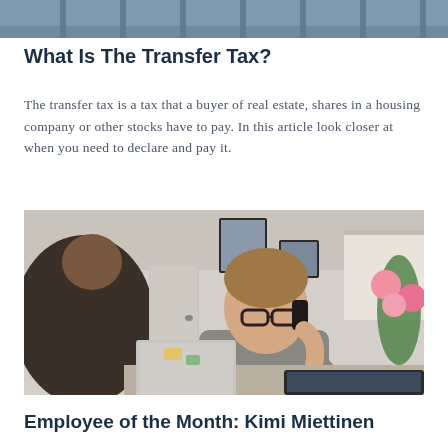[Figure (photo): Partial top image of a building or interior, cropped at the top of the page]
What Is The Transfer Tax?
The transfer tax is a tax that a buyer of real estate, shares in a housing company or other stocks have to pay. In this article look closer at when you need to declare and pay it.
[Figure (photo): Office scene showing a man with glasses talking on a phone while sitting at a desk with a laptop, with another person visible from behind in the foreground. Pink flowers visible on the right side.]
Employee of the Month: Kimi Miettinen